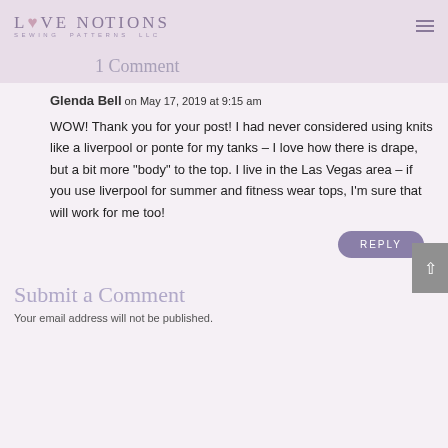Love Notions Sewing Patterns LLC
1 Comment
Glenda Bell on May 17, 2019 at 9:15 am
WOW! Thank you for your post! I had never considered using knits like a liverpool or ponte for my tanks – I love how there is drape, but a bit more "body" to the top. I live in the Las Vegas area – if you use liverpool for summer and fitness wear tops, I'm sure that will work for me too!
REPLY
Submit a Comment
Your email address will not be published.